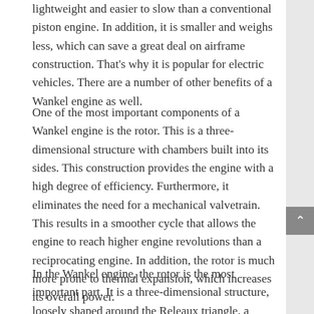lightweight and easier to slow than a conventional piston engine. In addition, it is smaller and weighs less, which can save a great deal on airframe construction. That's why it is popular for electric vehicles. There are a number of other benefits of a Wankel engine as well.
One of the most important components of a Wankel engine is the rotor. This is a three-dimensional structure with chambers built into its sides. This construction provides the engine with a high degree of efficiency. Furthermore, it eliminates the need for a mechanical valvetrain. This results in a smoother cycle that allows the engine to reach higher engine revolutions than a reciprocating engine. In addition, the rotor is much more prone to thermal expansion, which increases its overall power.
In the Wankel engine, the rotor is the most important part. It is a three-dimensional structure, loosely shaped around the Releaux triangle, a triangle with rounded